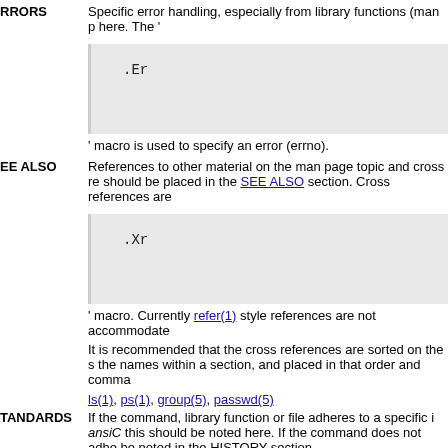RRORS
Specific error handling, especially from library functions (man p here. The '
[Figure (screenshot): Code box showing '.Er' macro]
' macro is used to specify an error (errno).
EE ALSO
References to other material on the man page topic and cross re should be placed in the SEE ALSO section. Cross references are
[Figure (screenshot): Code box showing '.Xr' macro]
' macro. Currently refer(1) style references are not accommodate
It is recommended that the cross references are sorted on the s the names within a section, and placed in that order and comma
ls(1), ps(1), group(5), passwd(5)
TANDARDS
If the command, library function or file adheres to a specific i ansiC this should be noted here. If the command does not adhe be noted in the HISTORY section.
ISTORY
Any command which does not adhere to any specific standards